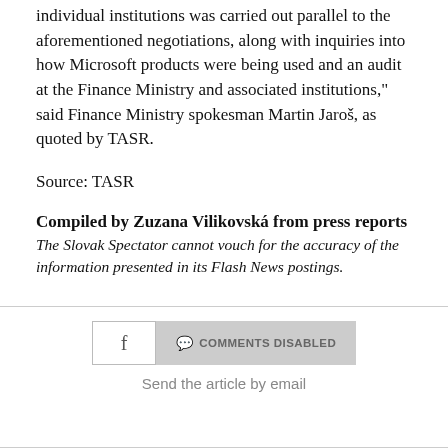individual institutions was carried out parallel to the aforementioned negotiations, along with inquiries into how Microsoft products were being used and an audit at the Finance Ministry and associated institutions," said Finance Ministry spokesman Martin Jaroš, as quoted by TASR.
Source: TASR
Compiled by Zuzana Vilikovská from press reports
The Slovak Spectator cannot vouch for the accuracy of the information presented in its Flash News postings.
[Figure (other): Facebook share button and Comments Disabled button]
Send the article by email